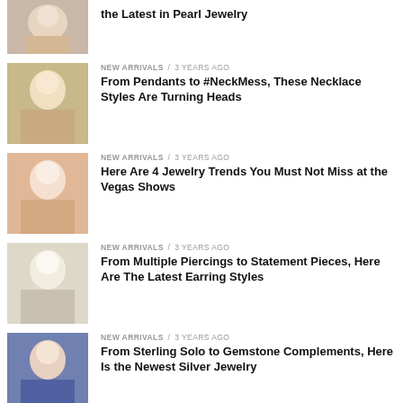[Figure (photo): Woman wearing pearl jewelry, cropped top portion visible]
the Latest in Pearl Jewelry
[Figure (photo): Woman wearing necklace and bracelets, posing with hand near face]
NEW ARRIVALS / 3 years ago
From Pendants to #NeckMess, These Necklace Styles Are Turning Heads
[Figure (photo): Woman touching face wearing earrings, peach/orange tones]
NEW ARRIVALS / 3 years ago
Here Are 4 Jewelry Trends You Must Not Miss at the Vegas Shows
[Figure (photo): Blonde woman wearing pearl earrings, hand on chin]
NEW ARRIVALS / 3 years ago
From Multiple Piercings to Statement Pieces, Here Are The Latest Earring Styles
[Figure (photo): Dark-haired woman in blue dress wearing necklace]
NEW ARRIVALS / 3 years ago
From Sterling Solo to Gemstone Complements, Here Is the Newest Silver Jewelry
[Figure (photo): Partial view of another article image at bottom]
NEW ARRIVALS / 4 years ago